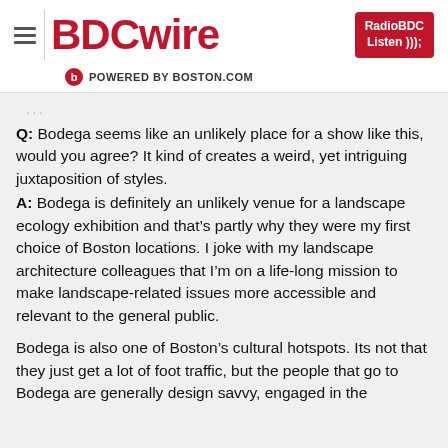BDCwire | RadioBDC Listen | POWERED BY BOSTON.COM
Q: Bodega seems like an unlikely place for a show like this, would you agree? It kind of creates a weird, yet intriguing juxtaposition of styles.
A: Bodega is definitely an unlikely venue for a landscape ecology exhibition and that's partly why they were my first choice of Boston locations. I joke with my landscape architecture colleagues that I'm on a life-long mission to make landscape-related issues more accessible and relevant to the general public.

Bodega is also one of Boston's cultural hotspots. Its not that they just get a lot of foot traffic, but the people that go to Bodega are generally design savvy, engaged in the